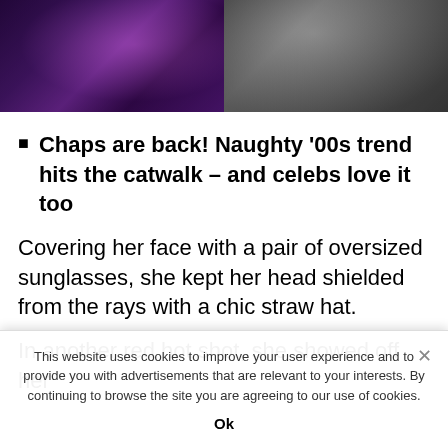[Figure (photo): Two photos side by side: left shows a person in dark purple/glittery costume at what appears to be a performance or event; right shows a person standing outdoors in casual/grey clothing]
Chaps are back! Naughty '00s trend hits the catwalk – and celebs love it too
Covering her face with a pair of oversized sunglasses, she kept her head shielded from the rays with a chic straw hat.
In another red hot shot, she showed off her
This website uses cookies to improve your user experience and to provide you with advertisements that are relevant to your interests. By continuing to browse the site you are agreeing to our use of cookies.
Ok